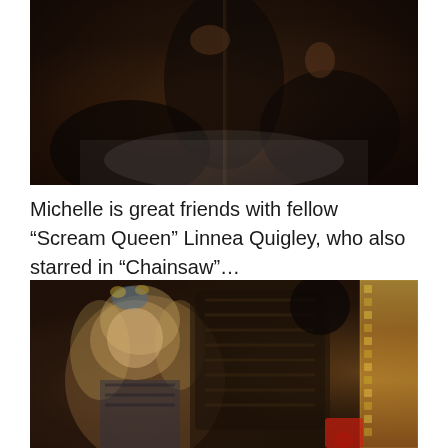[Figure (photo): Top portion of a dark, moody movie still photograph showing figures in a dimly lit scene]
Michelle is great friends with fellow “Scream Queen” Linnea Quigley, who also starred in “Chainsaw”…
[Figure (photo): Movie still showing a blonde woman in cat makeup and costume (Linnea Quigley) posing with a chainsaw, with a dark armored figure behind her]